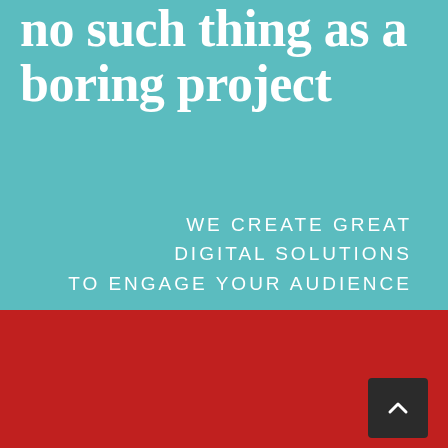no such thing as a boring project
WE CREATE GREAT DIGITAL SOLUTIONS TO ENGAGE YOUR AUDIENCE
Where we're coming from
OUR SERVICES & CORE VALUES
[Figure (other): Dark square button with upward-pointing chevron/caret arrow, used as a scroll-to-top control]